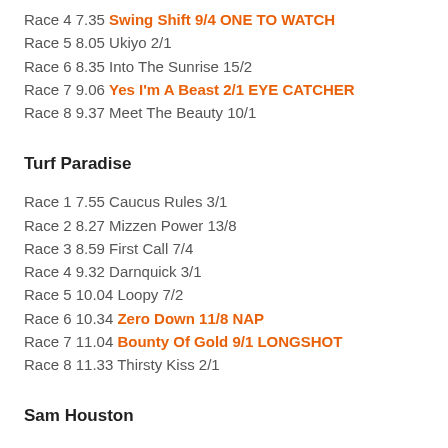Race 4 7.35 Swing Shift 9/4 ONE TO WATCH
Race 5 8.05 Ukiyo 2/1
Race 6 8.35 Into The Sunrise 15/2
Race 7 9.06 Yes I'm A Beast 2/1 EYE CATCHER
Race 8 9.37 Meet The Beauty 10/1
Turf Paradise
Race 1 7.55 Caucus Rules 3/1
Race 2 8.27 Mizzen Power 13/8
Race 3 8.59 First Call 7/4
Race 4 9.32 Darnquick 3/1
Race 5 10.04 Loopy 7/2
Race 6 10.34 Zero Down 11/8 NAP
Race 7 11.04 Bounty Of Gold 9/1 LONGSHOT
Race 8 11.33 Thirsty Kiss 2/1
Sam Houston